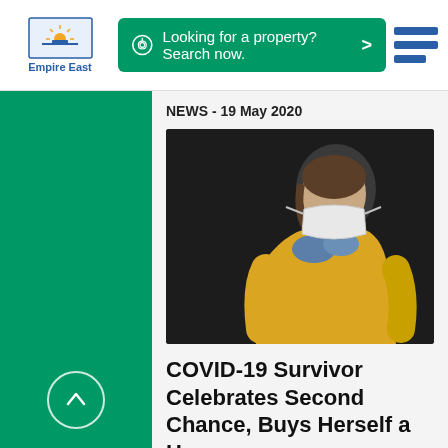[Figure (logo): Empire East logo with sun/horizon icon above text 'Empire East']
Looking for a property? Search now. >
[Figure (photo): Healthcare worker in yellow protective suit and blue gloves putting on or removing a white face mask]
NEWS - 19 May 2020
COVID-19 Survivor Celebrates Second Chance, Buys Herself a Home